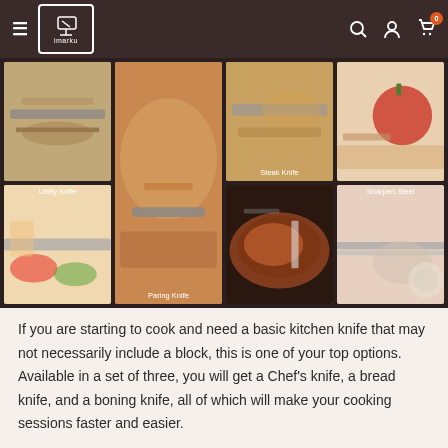imarku navigation header with logo, search, account, and cart icons
[Figure (photo): Grid of 8 kitchen knife product photos with labels: Utility Knife, Paring Knife, Steak Knife, Sharpen Steel, and 4 unlabeled knife-in-use photos on dark background]
If you are starting to cook and need a basic kitchen knife that may not necessarily include a block, this is one of your top options. Available in a set of three, you will get a Chef's knife, a bread knife, and a boning knife, all of which will make your cooking sessions faster and easier.